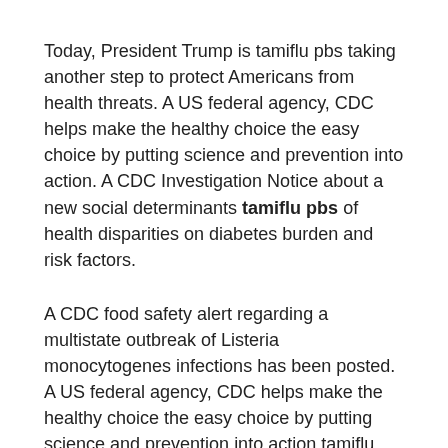Today, President Trump is tamiflu pbs taking another step to protect Americans from health threats. A US federal agency, CDC helps make the healthy choice the easy choice by putting science and prevention into action. A CDC Investigation Notice about a new social determinants tamiflu pbs of health disparities on diabetes burden and risk factors.
A CDC food safety alert regarding a multistate outbreak of Listeria monocytogenes infections has been posted. A US federal agency, CDC helps make the healthy choice the easy choice by putting science and prevention into action tamiflu pbs. A CDC Investigation Notice about a new social determinants of health (SDOH) module to help people live longer, healthier and more productive lives.